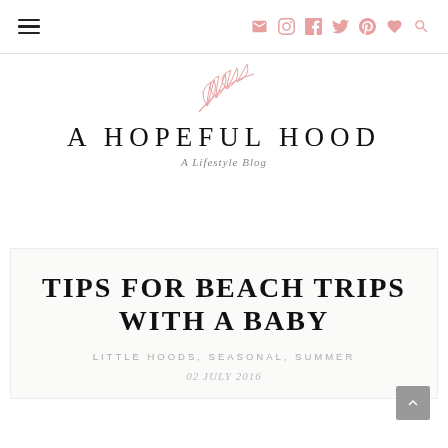Navigation bar with hamburger menu and social icons (mail, instagram, facebook, twitter, pinterest, heart, search)
[Figure (logo): A Hopeful Hood blog logo with pink leaf/branch illustration above the text]
A HOPEFUL HOOD
A Lifestyle Blog
TIPS FOR BEACH TRIPS WITH A BABY
LITTLE HOODS, SEASONAL, SUMMER
02 JULY 2016